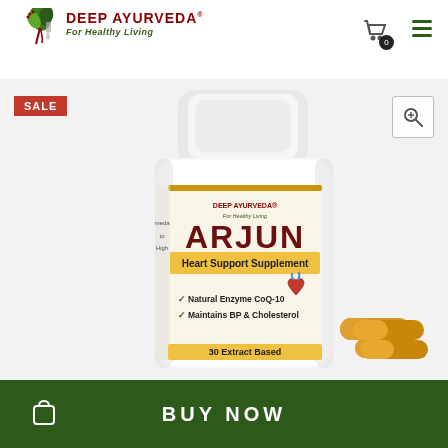Deep Ayurveda - For Healthy Living
[Figure (photo): Deep Ayurveda Arjun Heart Support Supplement bottle with capsules, showing product label with 'ARJUN Heart Support Supplement', 'Natural Enzyme CoQ-10', 'Maintains BP & Cholesterol', '30 Extract Based' and Deep Ayurveda logo. Brown capsules shown beside the bottle. SALE badge top left, zoom icon top right.]
BUY NOW